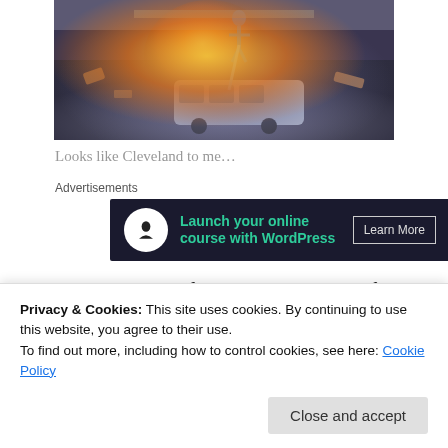[Figure (photo): Movie action scene showing explosion with superhero figure flying above a bus amid fire and debris]
Looks like Cleveland to me…
Advertisements
[Figure (infographic): Advertisement banner: Launch your online course with WordPress — Learn More]
I didn't have a lot of problems with this film. Overall, it set out what it wanted to do, entertain and tell the story of the
Privacy & Cookies: This site uses cookies. By continuing to use this website, you agree to their use. To find out more, including how to control cookies, see here: Cookie Policy
the short end of the stick in this movie. He was really bad